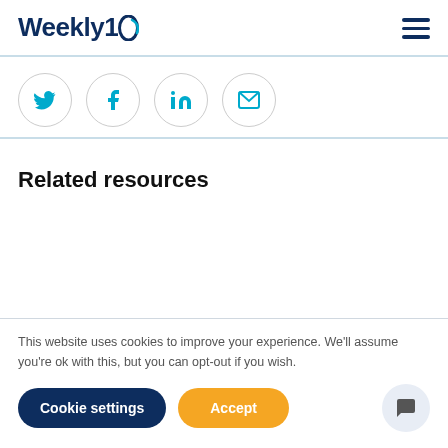Weekly10
[Figure (other): Social share icons: Twitter, Facebook, LinkedIn, Email — circular outlined buttons with teal icons]
Related resources
This website uses cookies to improve your experience. We'll assume you're ok with this, but you can opt-out if you wish.
Cookie settings | Accept